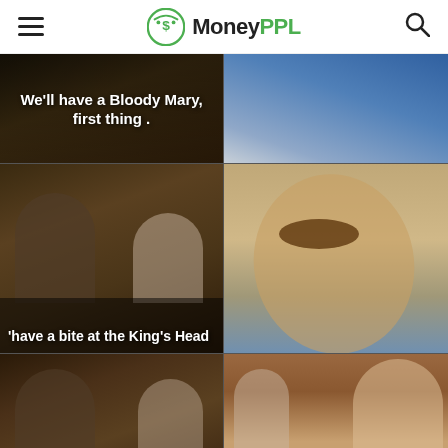MoneyPPL
[Figure (screenshot): Screenshot of MoneyPPL website showing a 2x3 grid of movie/TV stills with text overlays. Top-left: dark scene with text 'We'll have a Bloody Mary, first thing'. Top-right: close-up of blue fabric/jacket. Middle-left: pub scene with two men and text ''have a bite at the King's Head'. Middle-right: close-up of man with open mouth yawning. Bottom-left: same pub scene without text. Bottom-right: group of people looking surprised.]
Advertisement
[Figure (screenshot): Ad banner: Ad tag, bird app icon, purple 'follic' brand logo, text 'They Are Coming!', Download button]